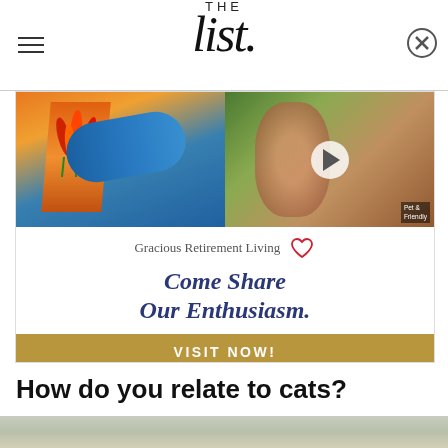THE list
[Figure (photo): Advertisement for Gracious Retirement Living showing a woman painting on canvas on the left and a smiling woman on the right with a video play button overlay. Bottom section reads 'Gracious Retirement Living / Come Share Our Enthusiasm.' with a gold 'VISIT NOW!' button.]
How do you relate to cats?
[Figure (photo): Partial photo of a cat at the bottom of the page, blurred background with greenery.]